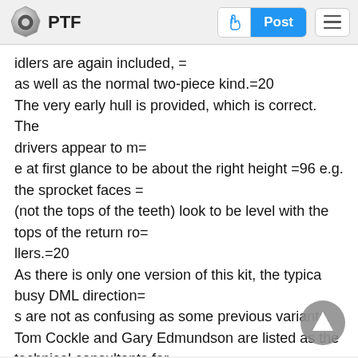PTF | Post
idlers are again included, =
as well as the normal two-piece kind.=20
The very early hull is provided, which is correct. The drivers appear to m=
e at first glance to be about the right height =96 e.g. the sprocket faces =
(not the tops of the teeth) look to be level with the tops of the return ro=
llers.=20
As there is only one version of this kit, the typical busy DML direction=
s are not as confusing as some previous variants. Tom Cockle and Gary Edmundson are listed as the technical consultants for =